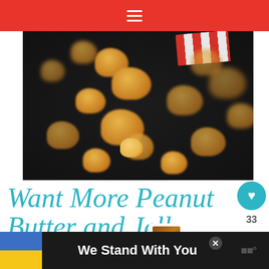≡
[Figure (photo): Caramel popcorn pieces scattered on a dark surface with a red and white striped popcorn bucket visible in the upper right corner]
Want More Peanut Butter and Jelly Treats?
Peanut Butter and Jelly Babka
WHAT'S NEXT → Caramel Corn Caramels
[Figure (photo): Ad banner: Ukrainian flag icon with text 'We Stand With You']